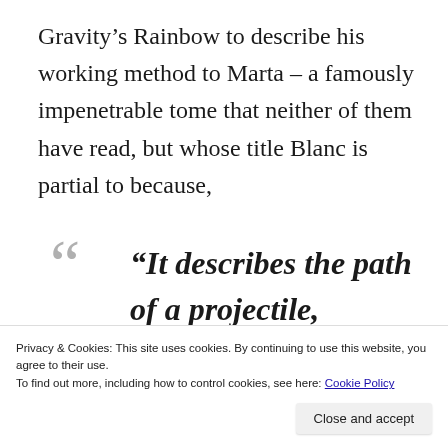Gravity’s Rainbow to describe his working method to Marta – a famously impenetrable tome that neither of them have read, but whose title Blanc is partial to because,
“It describes the path of a projectile, determined by natural law. Voila, my
Privacy & Cookies: This site uses cookies. By continuing to use this website, you agree to their use.
To find out more, including how to control cookies, see here: Cookie Policy
Close and accept